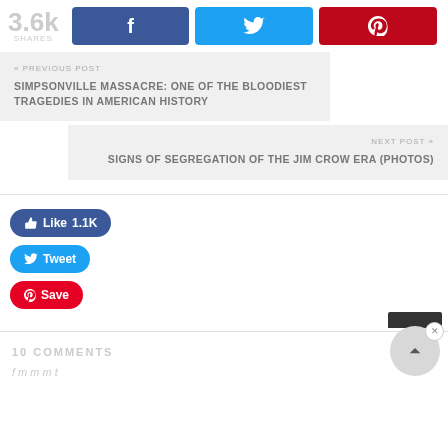3.6k SHARES | Facebook | Twitter | Pinterest
SIMPSONVILLE MASSACRE: ONE OF THE BLOODIEST TRAGEDIES IN AMERICAN HISTORY
NEXT POST » SIGNS OF SEGREGATION OF THE JIM CROW ERA (PHOTOS)
[Figure (screenshot): Social media buttons: Like 1.1K, Tweet, Save]
10 COMMENTS
f m m m t